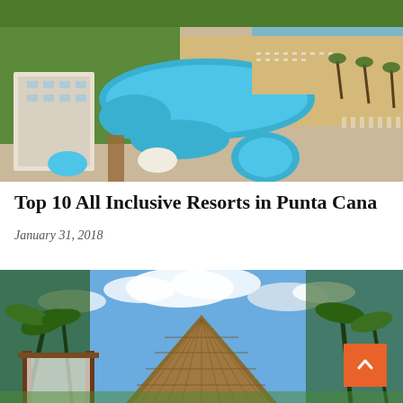[Figure (photo): Aerial view of an all-inclusive resort in Punta Cana showing pools, beach loungers, palm trees, and the ocean in the background]
Top 10 All Inclusive Resorts in Punta Cana
January 31, 2018
[Figure (photo): Ground-level view of a tropical resort with thatched-roof palapa structures, palm trees, and blue sky with clouds]